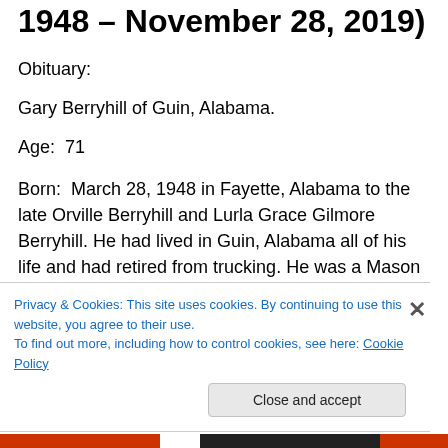1948 – November 28, 2019)
Obituary:
Gary Berryhill of Guin, Alabama.
Age:  71
Born:  March 28, 1948 in Fayette, Alabama to the late Orville Berryhill and Lurla Grace Gilmore Berryhill. He had lived in Guin, Alabama all of his life and had retired from trucking. He was a Mason and a member of the Love Joy Free Will Baptist Church.
Privacy & Cookies: This site uses cookies. By continuing to use this website, you agree to their use.
To find out more, including how to control cookies, see here: Cookie Policy
Close and accept